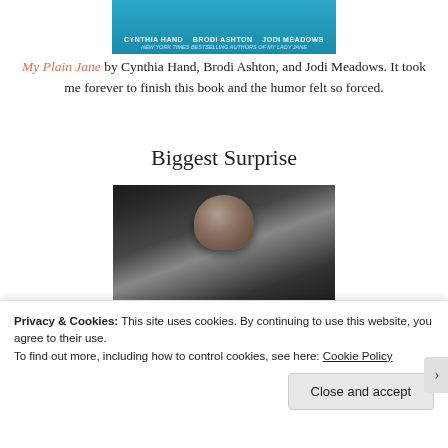[Figure (photo): Book cover showing authors Cynthia Hand, Brodi Ashton, Jodi Meadows – New York Times Bestselling Authors of My Lady Jane]
My Plain Jane by Cynthia Hand, Brodi Ashton, and Jodi Meadows. It took me forever to finish this book and the humor felt so forced.
Biggest Surprise
[Figure (photo): Black and white photograph of a man in a leather jacket, chest partially visible, face cropped at top]
Privacy & Cookies: This site uses cookies. By continuing to use this website, you agree to their use.
To find out more, including how to control cookies, see here: Cookie Policy